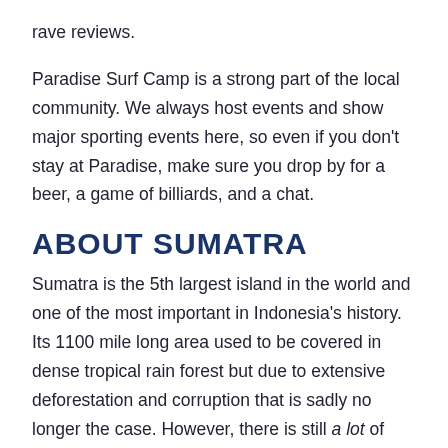rave reviews.
Paradise Surf Camp is a strong part of the local community. We always host events and show major sporting events here, so even if you don't stay at Paradise, make sure you drop by for a beer, a game of billiards, and a chat.
ABOUT SUMATRA
Sumatra is the 5th largest island in the world and one of the most important in Indonesia's history. Its 1100 mile long area used to be covered in dense tropical rain forest but due to extensive deforestation and corruption that is sadly no longer the case. However, there is still a lot of jungle and preserves exist in numerous places that harbor endangered species like Tigers, Elephants, Orangutans, and Rhinos. Straddling the equator, the climate is hot and humid with water temperatures